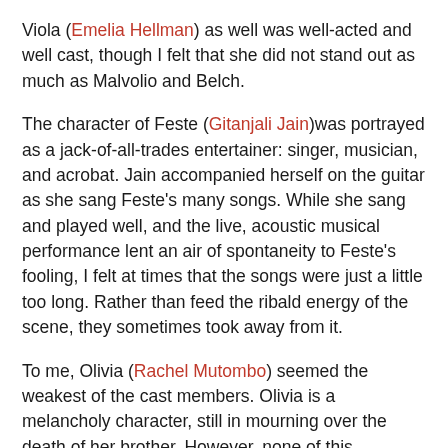Viola (Emelia Hellman) as well was well-acted and well cast, though I felt that she did not stand out as much as Malvolio and Belch.
The character of Feste (Gitanjali Jain)was portrayed as a jack-of-all-trades entertainer: singer, musician, and acrobat. Jain accompanied herself on the guitar as she sang Feste's many songs. While she sang and played well, and the live, acoustic musical performance lent an air of spontaneity to Feste's fooling, I felt at times that the songs were just a little too long. Rather than feed the ribald energy of the scene, they sometimes took away from it.
To me, Olivia (Rachel Mutombo) seemed the weakest of the cast members. Olivia is a melancholy character, still in mourning over the death of her brother. However, none of this melancholy came through in her performance which was rather one-note.
Orsino (Mike Rosette) did live...